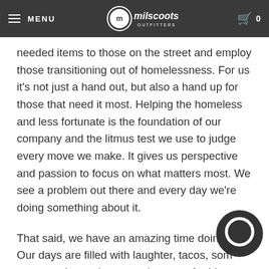MENU | milscoots OUTFITTERS | 0
amazing things to those in need. By making great gear, we're also providing much needed items to those on the street and employ those transitioning out of homelessness. For us it's not just a hand out, but also a hand up for those that need it most. Helping the homeless and less fortunate is the foundation of our company and the litmus test we use to judge every move we make. It gives us perspective and passion to focus on what matters most. We see a problem out there and every day we're doing something about it.
That said, we have an amazing time doing it. Our days are filled with laughter, tacos, some crazy stories and a general sense of pride. While at Milscoots on any given day for a...